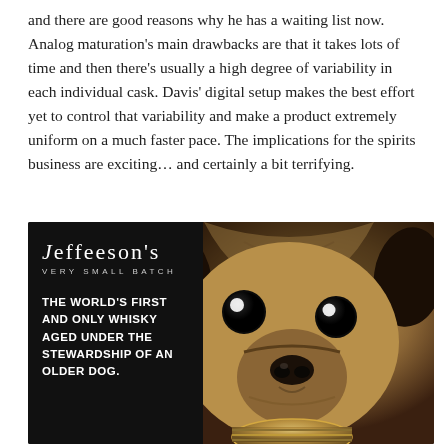and there are good reasons why he has a waiting list now. Analog maturation's main drawbacks are that it takes lots of time and then there's usually a high degree of variability in each individual cask. Davis' digital setup makes the best effort yet to control that variability and make a product extremely uniform on a much faster pace. The implications for the spirits business are exciting… and certainly a bit terrifying.
[Figure (photo): Jeffeeson's Very Small Batch whisky advertisement featuring a close-up photo of a pug dog's face on a dark background, with text reading 'The world's first and only whisky aged under the stewardship of an older dog.']